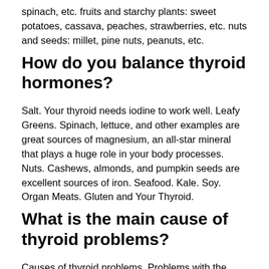spinach, etc. fruits and starchy plants: sweet potatoes, cassava, peaches, strawberries, etc. nuts and seeds: millet, pine nuts, peanuts, etc.
How do you balance thyroid hormones?
Salt. Your thyroid needs iodine to work well. Leafy Greens. Spinach, lettuce, and other examples are great sources of magnesium, an all-star mineral that plays a huge role in your body processes. Nuts. Cashews, almonds, and pumpkin seeds are excellent sources of iron. Seafood. Kale. Soy. Organ Meats. Gluten and Your Thyroid.
What is the main cause of thyroid problems?
Causes of thyroid problems. Problems with the thyroid can be caused by: iodine deficiency. autoimmune diseases, in which your immune system attacks your own body, leading either to